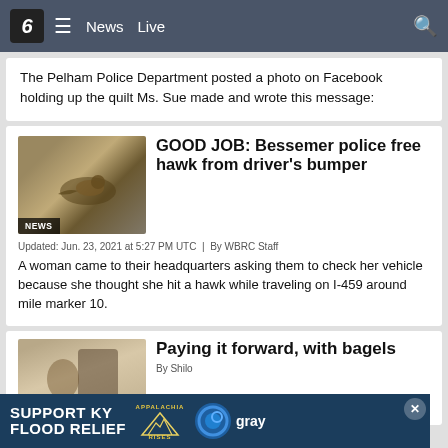6  ≡  News  Live
The Pelham Police Department posted a photo on Facebook holding up the quilt Ms. Sue made and wrote this message:
GOOD JOB: Bessemer police free hawk from driver's bumper
Updated: Jun. 23, 2021 at 5:27 PM UTC  |  By WBRC Staff
A woman came to their headquarters asking them to check her vehicle because she thought she hit a hawk while traveling on I-459 around mile marker 10.
Paying it forward, with bagels
By Shilo
SUPPORT KY FLOOD RELIEF  APPALACHIA RISES  gray